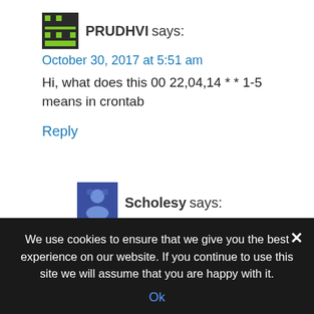PRUDHVI says:
October 30, 2017 at 5:51 am
Hi, what does this 00 22,04,14 * * 1-5 means in crontab
Reply
Scholesy says:
November 25, 2017 at 2:43 am
Hi,
00 = minutes is equal to 00
We use cookies to ensure that we give you the best experience on our website. If you continue to use this site we will assume that you are happy with it.
Ok